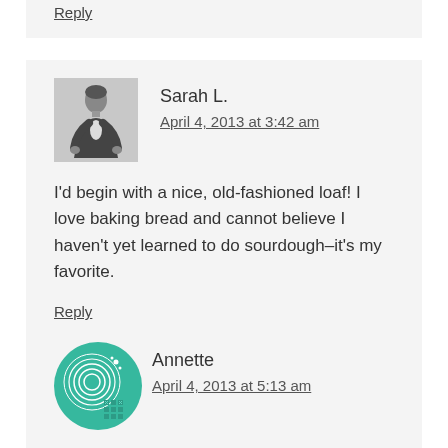Reply
Sarah L.
April 4, 2013 at 3:42 am
I'd begin with a nice, old-fashioned loaf! I love baking bread and cannot believe I haven't yet learned to do sourdough–it's my favorite.
Reply
Annette
April 4, 2013 at 5:13 am